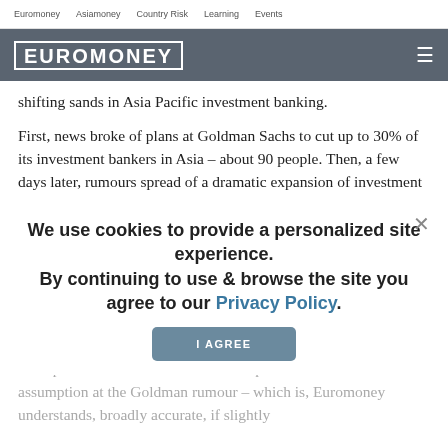Euromoney   Asiamoney   Country Risk   Learning   Events
[Figure (logo): Euromoney logo in white text on dark grey/slate navigation bar with hamburger menu icon on the right]
shifting sands in Asia Pacific investment banking.
First, news broke of plans at Goldman Sachs to cut up to 30% of its investment bankers in Asia – about 90 people. Then, a few days later, rumours spread of a dramatic expansion of investment banking capability at China Citic Bank in Hong Kong, in particular in M&A and equity capital markets.
We use cookies to provide a personalized site experience.
By continuing to use & browse the site you agree to our Privacy Policy.
somewhere to go
Each piece of news is worth closer inspection. The first assumption at the Goldman rumour – which is, Euromoney understands, broadly accurate, if slightly